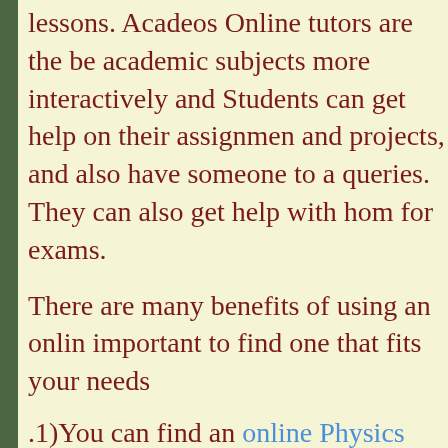lessons. Acadeos Online tutors are the be academic subjects more interactively and Students can get help on their assignmen and projects, and also have someone to a queries. They can also get help with hom for exams.
There are many benefits of using an onlin important to find one that fits your needs
.1)You can find an online Physics tutor in Acadeos who is qualified and certified: y to worry about meeting with a person or resume.
2)According to...